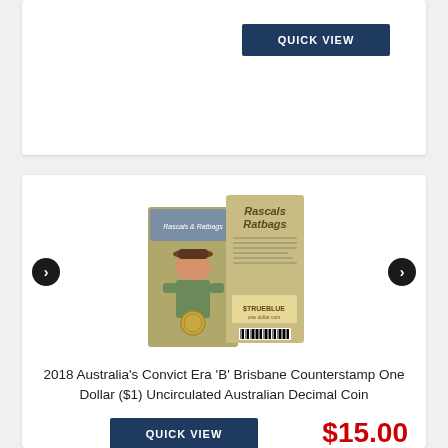[Figure (screenshot): Top portion of a product card with a QUICK VIEW button on a dark navy background, partially visible e-commerce listing]
[Figure (photo): Product image of 2018 Australia Rascals Ratbags coin card packaging showing a caricature illustration and a $1 coin]
2018 Australia's Convict Era 'B' Brisbane Counterstamp One Dollar ($1) Uncirculated Australian Decimal Coin
$15.00
QUICK VIEW